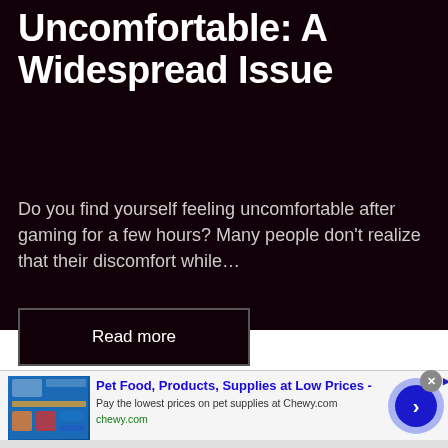Uncomfortable: A Widespread Issue
Do you find yourself feeling uncomfortable after gaming for a few hours? Many people don't realize that their discomfort while…
Read more
[Figure (screenshot): Dark card placeholder area below main content]
[Figure (screenshot): Advertisement banner for Chewy.com - Pet Food, Products, Supplies at Low Prices. Pay the lowest prices on pet supplies at Chewy.com]
Pet Food, Products, Supplies at Low Prices -
Pay the lowest prices on pet supplies at Chewy.com
chewy.com